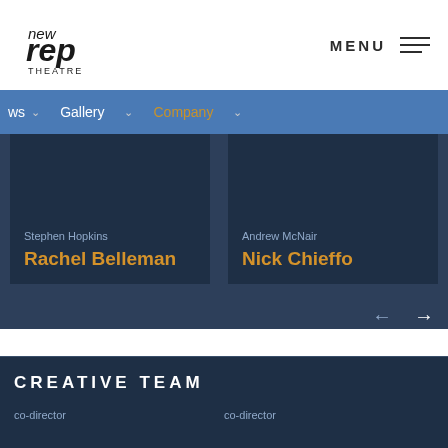[Figure (logo): New Rep Theatre logo in black and white]
MENU
ws  Gallery  Company
Stephen Hopkins
Rachel Belleman
Andrew McNair
Nick Chieffo
CREATIVE TEAM
co-director
co-director